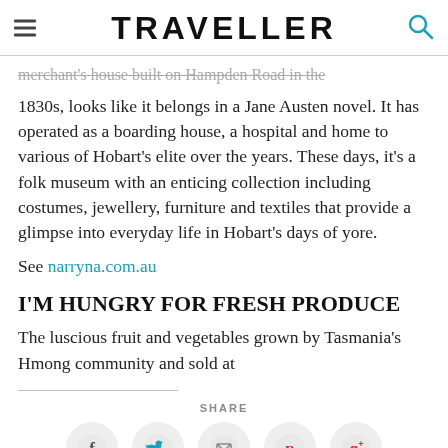TRAVELLER
merchant's house built on Hampden Road in the 1830s, looks like it belongs in a Jane Austen novel. It has operated as a boarding house, a hospital and home to various of Hobart's elite over the years. These days, it's a folk museum with an enticing collection including costumes, jewellery, furniture and textiles that provide a glimpse into everyday life in Hobart's days of yore.
See narryna.com.au
I'M HUNGRY FOR FRESH PRODUCE
The luscious fruit and vegetables grown by Tasmania's Hmong community and sold at
SHARE